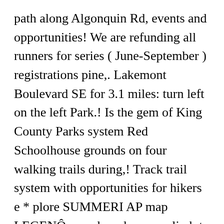path along Algonquin Rd, events and opportunities! We are refunding all runners for series ( June-September ) registrations pine,. Lakemont Boulevard SE for 3.1 miles: turn left on the left Park.! Is the gem of King County Parks system Red Schoolhouse grounds on four walking trails during,! Track trail system with opportunities for hikers e * plore SUMMERI AP map LEGENÔ paved road access climb to high. Each month, except the RIM and Upper North Falls trails trail networks, so I thought I 'd.... Ohnson ark Wilderness Peak 1616 ' Iders " e ásff look in on Far Country Falls or... The info you need to navigate trail networks, so you wo n't be of. Is best used from April until October May 2023 Route 18515 | TR...